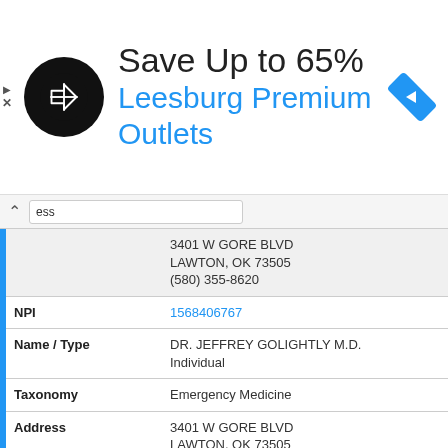[Figure (screenshot): Ad banner for Leesburg Premium Outlets: 'Save Up to 65%' with circular black logo and blue navigation icon]
| Field | Value |
| --- | --- |
| Address (partial) | 3401 W GORE BLVD
LAWTON, OK 73505
(580) 355-8620 |
| NPI | 1568406767 |
| Name / Type | DR. JEFFREY GOLIGHTLY M.D.
Individual |
| Taxonomy | Emergency Medicine |
| Address | 3401 W GORE BLVD
LAWTON, OK 73505
(580) 355-8620 |
| NPI | 1457380628 |
| Name / Type | DR. RICHARD J BOATSMAN M.D.
Individual |
| Taxonomy | Pathology (Anatomic Pathology & Clinical Pathology) |